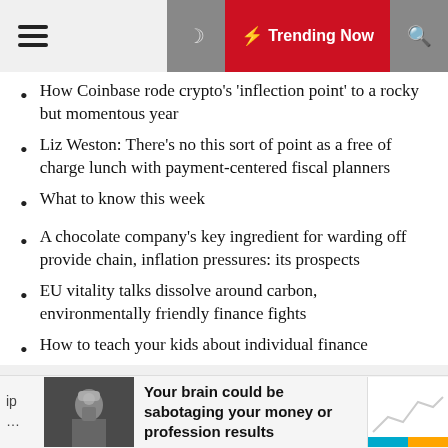Trending Now
How Coinbase rode crypto's 'inflection point' to a rocky but momentous year
Liz Weston: There's no this sort of point as a free of charge lunch with payment-centered fiscal planners
What to know this week
A chocolate company's key ingredient for warding off provide chain, inflation pressures: its prospects
EU vitality talks dissolve around carbon, environmentally friendly finance fights
How to teach your kids about individual finance
Your brain could be sabotaging your money or profession results